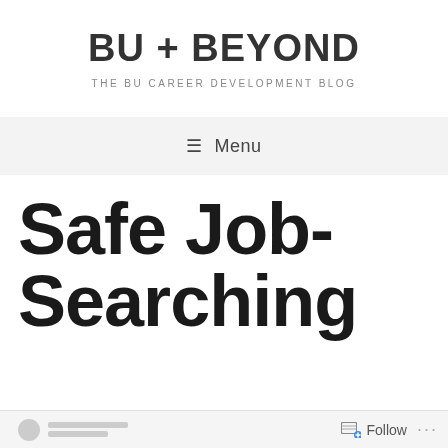BU + BEYOND
THE BU CAREER DEVELOPMENT BLOG
≡ Menu
Safe Job-Searching
Follow